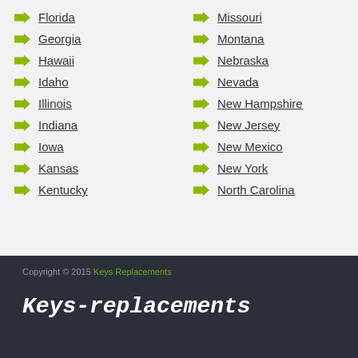Florida
Missouri
Georgia
Montana
Hawaii
Nebraska
Idaho
Nevada
Illinois
New Hampshire
Indiana
New Jersey
Iowa
New Mexico
Kansas
New York
Kentucky
North Carolina
Copyright © 2015 Keys Replacements
Keys-replacements